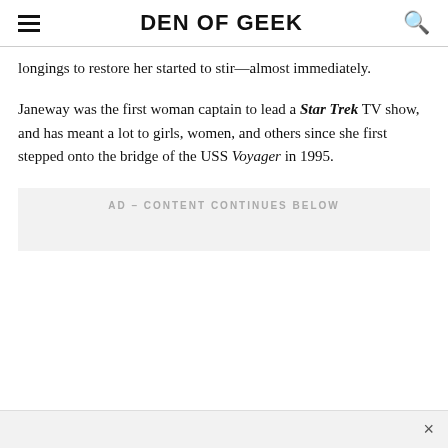DEN OF GEEK
longings to restore her started to stir—almost immediately.
Janeway was the first woman captain to lead a Star Trek TV show, and has meant a lot to girls, women, and others since she first stepped onto the bridge of the USS Voyager in 1995.
AD – CONTENT CONTINUES BELOW